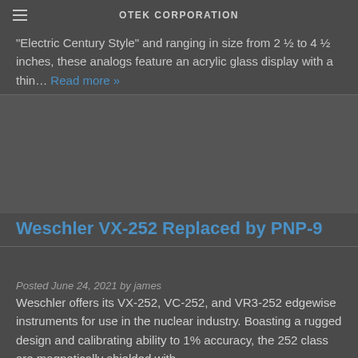OTEK CORPORATION
"Electric Century Style" and ranging in size from 2 ½ to 4 ½ inches, these analogs feature an acrylic glass display with a thin… Read more »
[Figure (photo): Dark placeholder image area between article sections]
Weschler VX-252 Replaced by PNP-9
Posted June 24, 2021 by james
Weschler offers its VX-252, VC-252, and VR3-252 edgewise instruments for use in the nuclear industry. Boasting a rugged design and calibrating ability to 1% accuracy, the 252 class are magnetically shielded with